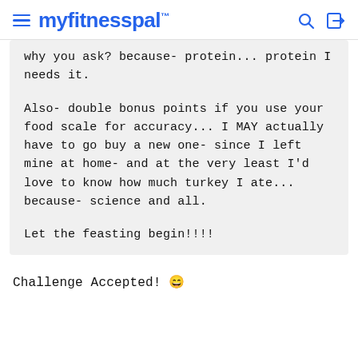myfitnesspal
why you ask? because- protein... protein I needs it.

Also- double bonus points if you use your food scale for accuracy... I MAY actually have to go buy a new one- since I left mine at home- and at the very least I'd love to know how much turkey I ate... because- science and all.

Let the feasting begin!!!!
Challenge Accepted! 😄